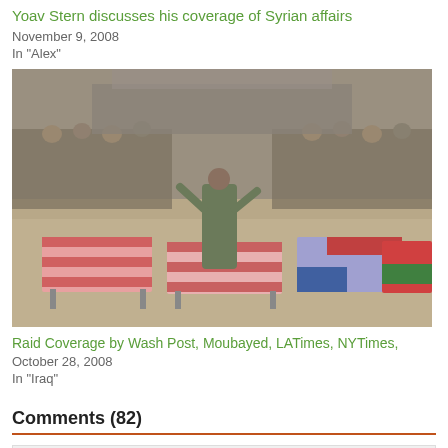Yoav Stern discusses his coverage of Syrian affairs
November 9, 2008
In "Alex"
[Figure (photo): A man with arms raised stands among several flag-draped coffins at an outdoor funeral with a large crowd gathered behind.]
Raid Coverage by Wash Post, Moubayed, LATimes, NYTimes,
October 28, 2008
In "Iraq"
Comments (82)
ENLIGHTENED said:
Article from Sydney Morning Herald: Titled
"Israeli anger that burns brightly"